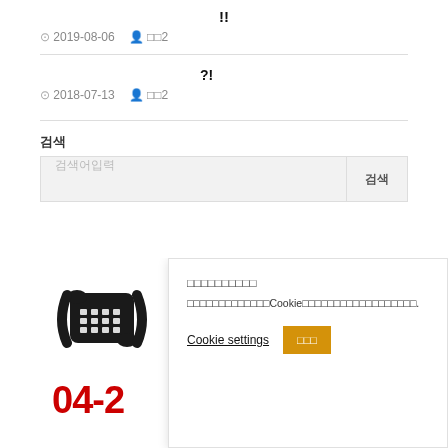!!
2019-08-06  □□2
?!
2018-07-13  □□2
검색
검색어입력  검색
[Figure (screenshot): Telephone icon with Korean text and red phone number starting with 04-2]
쿠키 사용 동의 / □□□□□□□□□□ / Cookie settings / □□□